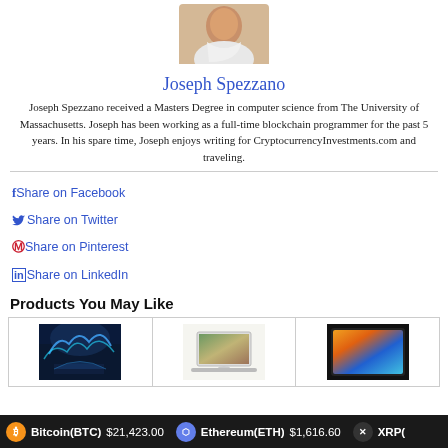[Figure (photo): Headshot photo of Joseph Spezzano, a man in a white shirt, cropped at top]
Joseph Spezzano
Joseph Spezzano received a Masters Degree in computer science from The University of Massachusetts. Joseph has been working as a full-time blockchain programmer for the past 5 years. In his spare time, Joseph enjoys writing for CryptocurrencyInvestments.com and traveling.
Share on Facebook
Share on Twitter
Share on Pinterest
Share on LinkedIn
Products You May Like
[Figure (photo): Product image showing aurora borealis / northern lights landscape]
[Figure (photo): Product image showing a MacBook laptop]
[Figure (photo): Product image showing a colorful abstract tablet or monitor screen]
Bitcoin(BTC) $21,423.00   Ethereum(ETH) $1,616.60   XRP(